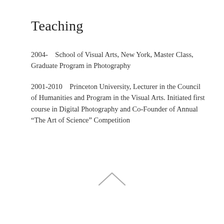Teaching
2004-   School of Visual Arts, New York, Master Class, Graduate Program in Photography
2001-2010   Princeton University, Lecturer in the Council of Humanities and Program in the Visual Arts. Initiated first course in Digital Photography and Co-Founder of Annual “The Art of Science” Competition
[Figure (illustration): A small upward-pointing chevron/caret arrow icon centered near the bottom of the page]